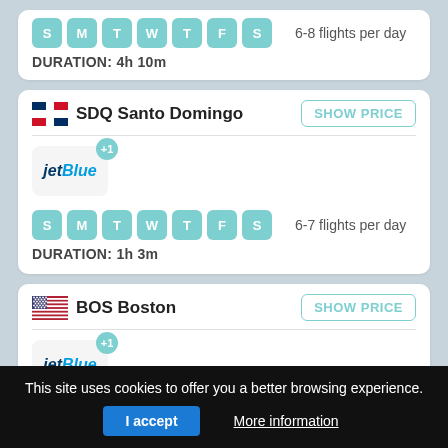[Figure (infographic): Partial top card showing day pills S M T W T F S and '6-8 flights per day' and DURATION: 4h 10m]
6-8 flights per day
DURATION: 4h 10m
SDQ Santo Domingo
SHOW PRICE
[Figure (logo): JetBlue airline logo with +1 badge]
6-7 flights per day
DURATION: 1h 3m
BOS Boston
SHOW PRICE
[Figure (logo): JetBlue airline logo with +1 badge]
This site uses cookies to offer you a better browsing experience.
I accept
More information